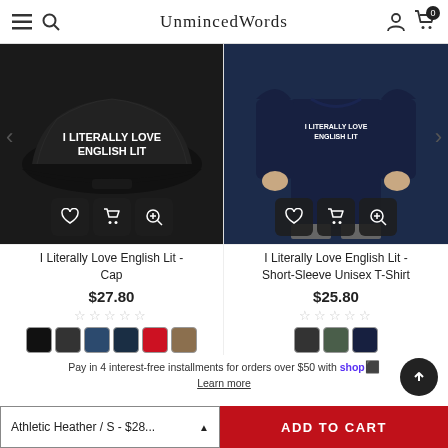UnmincedWords
[Figure (photo): Black trucker cap with white embroidered text 'I LITERALLY LOVE ENGLISH LIT', with action buttons (heart, cart, magnify)]
[Figure (photo): Navy blue short-sleeve unisex t-shirt with white embroidered text 'I LITERALLY LOVE ENGLISH LIT' worn by a person, with action buttons]
I Literally Love English Lit - Cap
$27.80
☆☆☆☆☆
I Literally Love English Lit - Short-Sleeve Unisex T-Shirt
$25.80
☆☆☆☆☆
Pay in 4 interest-free installments for orders over $50 with shopPay. Learn more
Athletic Heather / S - $28...
ADD TO CART